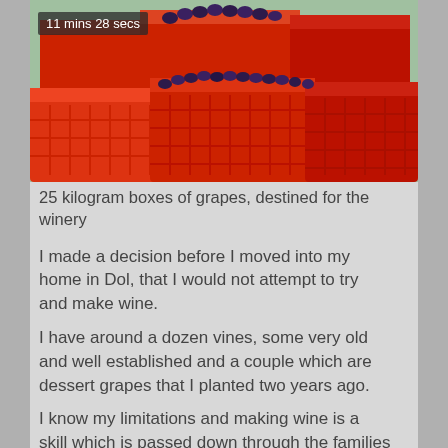[Figure (photo): Red plastic crates filled with dark purple/blue grapes stacked together, destined for a winery. A timestamp overlay reads '11 mins 28 secs'.]
25 kilogram boxes of grapes, destined for the winery
I made a decision before I moved into my home in Dol, that I would not attempt to try and make wine.
I have around a dozen vines, some very old and well established and a couple which are dessert grapes that I planted two years ago.
I know my limitations and making wine is a skill which is passed down through the families and takes years to assimilate. So the grapes I have either feed the birds and insects, are turned into fresh grape juice, or